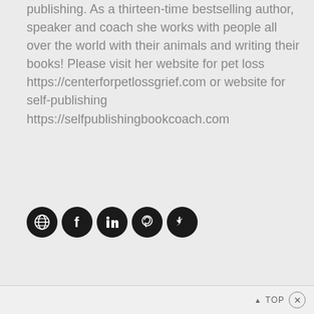publishing. As a thirteen-time bestselling author, speaker and coach she works with people all over the world with their animals and writing their books! Please visit her website for pet loss https://centerforpetlossgrief.com or website for self-publishing https://selfpublishingbookcoach.com
[Figure (infographic): Row of 5 social media icon buttons (globe/website, Facebook, LinkedIn, Pinterest, Twitter) as dark circular icons]
▲ TOP ✕